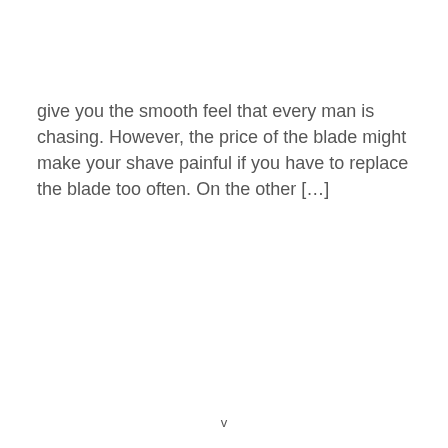give you the smooth feel that every man is chasing. However, the price of the blade might make your shave painful if you have to replace the blade too often. On the other […]
v